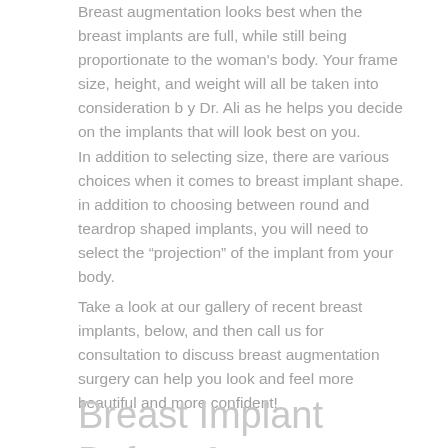Breast augmentation looks best when the breast implants are full, while still being proportionate to the woman's body. Your frame size, height, and weight will all be taken into consideration b y Dr. Ali as he helps you decide on the implants that will look best on you.
In addition to selecting size, there are various choices when it comes to breast implant shape. in addition to choosing between round and teardrop shaped implants, you will need to select the “projection” of the implant from your body.
Take a look at our gallery of recent breast implants, below, and then call us for consultation to discuss breast augmentation surgery can help you look and feel more beautiful and more confident!
Breast Implant Before &